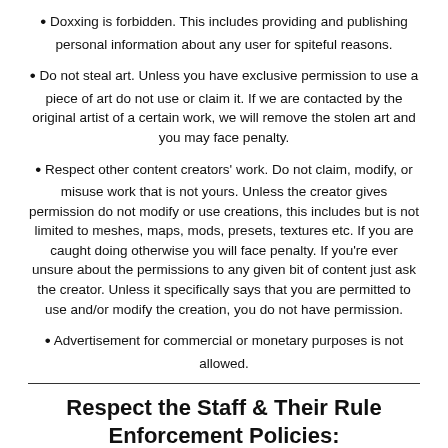Doxxing is forbidden. This includes providing and publishing personal information about any user for spiteful reasons.
Do not steal art. Unless you have exclusive permission to use a piece of art do not use or claim it. If we are contacted by the original artist of a certain work, we will remove the stolen art and you may face penalty.
Respect other content creators' work. Do not claim, modify, or misuse work that is not yours. Unless the creator gives permission do not modify or use creations, this includes but is not limited to meshes, maps, mods, presets, textures etc. If you are caught doing otherwise you will face penalty. If you're ever unsure about the permissions to any given bit of content just ask the creator. Unless it specifically says that you are permitted to use and/or modify the creation, you do not have permission.
Advertisement for commercial or monetary purposes is not allowed.
Respect the Staff & Their Rule Enforcement Policies:
If a staff member asks you to stop a particular behavior be